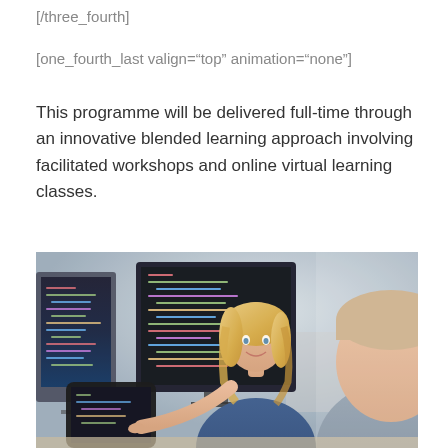[/three_fourth]
[one_fourth_last valign="top" animation="none"]
This programme will be delivered full-time through an innovative blended learning approach involving facilitated workshops and online virtual learning classes.
[Figure (photo): A woman with blonde hair pointing at a computer monitor showing code, leaning towards a man in the foreground, in an office/learning environment with multiple screens.]